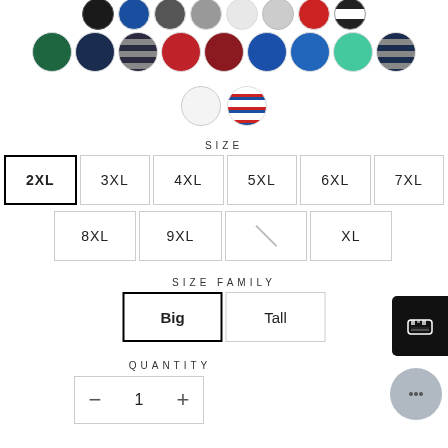[Figure (other): Color swatch selector showing multiple circular color options in rows: row 1 partial (black, blue, dark gray, gray, white/light, dark, red, striped/black-white), row 2 (dark green, navy, striped/dark, red, dark red, royal blue, blue, teal/mint, striped/navy), row 3 (white, red-white-blue striped)]
SIZE
2XL 3XL 4XL 5XL 6XL 7XL 8XL 9XL [unavailable] XL
SIZE FAMILY
Big Tall
QUANTITY
1